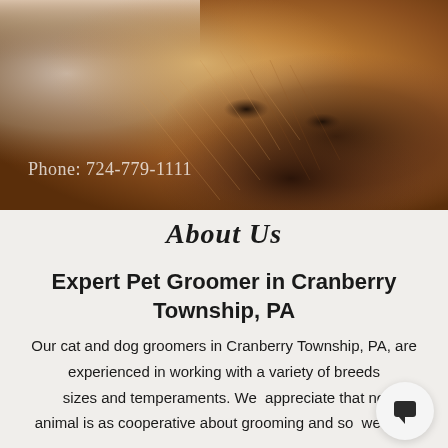[Figure (photo): Close-up photo of a Yorkshire Terrier dog with golden-brown fur, with a human hand visible at the top. The dog's face fills most of the frame. Text 'Phone: 724-779-1111' overlaid in white on the lower portion of the image.]
Phone: 724-779-1111
About Us
Expert Pet Groomer in Cranberry Township, PA
Our cat and dog groomers in Cranberry Township, PA, are experienced in working with a variety of breeds sizes and temperaments. We appreciate that no animal is as cooperative about grooming and so we take